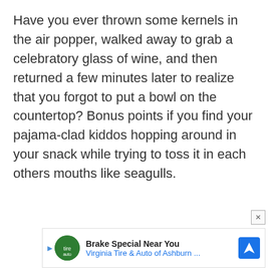Have you ever thrown some kernels in the air popper, walked away to grab a celebratory glass of wine, and then returned a few minutes later to realize that you forgot to put a bowl on the countertop? Bonus points if you find your pajama-clad kiddos hopping around in your snack while trying to toss it in each others mouths like seagulls.
[Figure (other): Advertisement banner: Brake Special Near You - Virginia Tire & Auto of Ashburn, with logo and navigation icon]